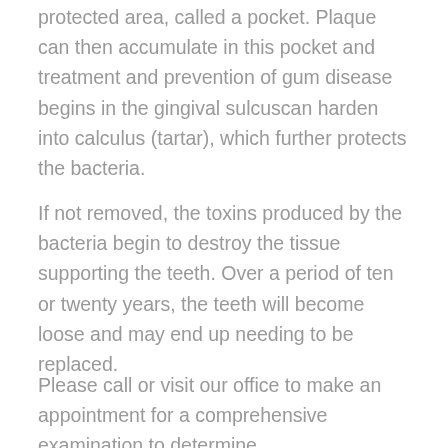protected area, called a pocket. Plaque can then accumulate in this pocket and treatment and prevention of gum disease begins in the gingival sulcuscan harden into calculus (tartar), which further protects the bacteria.
If not removed, the toxins produced by the bacteria begin to destroy the tissue supporting the teeth. Over a period of ten or twenty years, the teeth will become loose and may end up needing to be replaced.
Please call or visit our office to make an appointment for a comprehensive examination to determine.